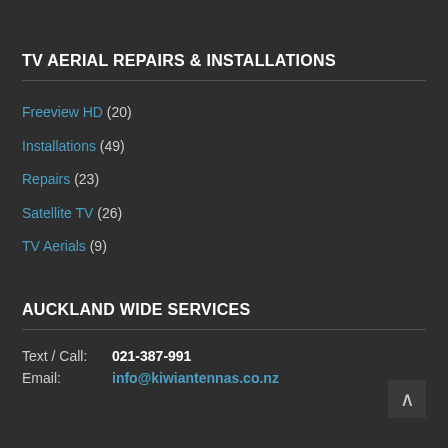TV AERIAL REPAIRS & INSTALLATIONS
Freeview HD (20)
Installations (49)
Repairs (23)
Satellite TV (26)
TV Aerials (9)
AUCKLAND WIDE SERVICES
Text / Call: 021-387-991
Email: info@kiwiantennas.co.nz